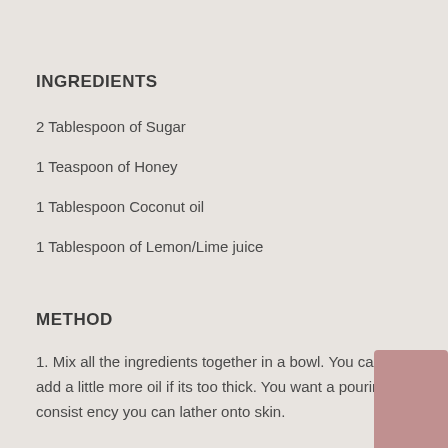INGREDIENTS
2 Tablespoon of Sugar
1 Teaspoon of Honey
1 Tablespoon Coconut oil
1 Tablespoon of Lemon/Lime juice
METHOD
1. Mix all the ingredients together in a bowl. You can add a little more oil if its too thick. You want a pouring consistency you can lather onto skin.